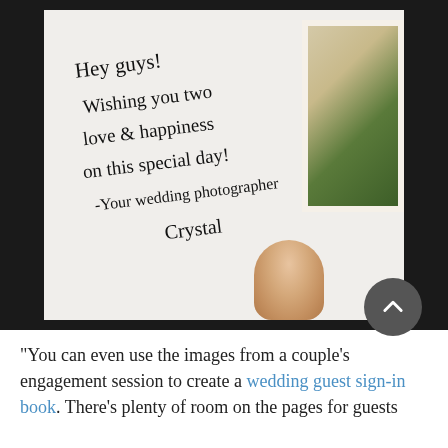[Figure (photo): Photo of a handwritten note on white card held by a person's hand. The note reads: 'Hey guys! Wishing you two love & happiness on this special day! -Your wedding photographer Crystal' with a signature. A polaroid photo of greenery/plants is partially visible on the right side of the card.]
"You can even use the images from a couple's engagement session to create a wedding guest sign-in book. There's plenty of room on the pages for guests